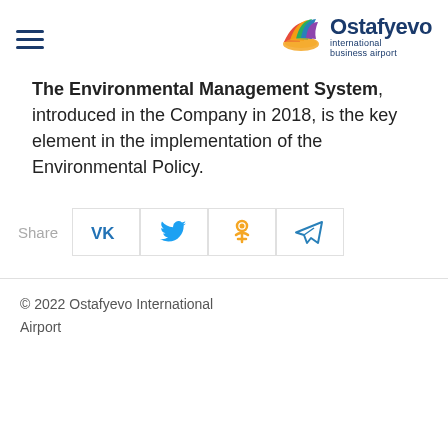[Figure (logo): Ostafyevo International Business Airport logo with colorful bird/wing graphic and blue text]
The Environmental Management System, introduced in the Company in 2018, is the key element in the implementation of the Environmental Policy.
[Figure (infographic): Share section with VK, Twitter, Odnoklassniki, and Telegram social media icons]
© 2022 Ostafyevo International Airport